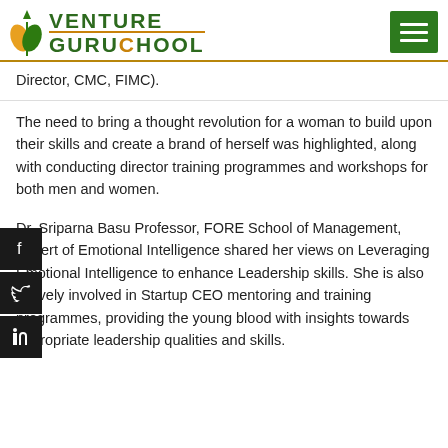Venture Guruchool
Director, CMC, FIMC).
The need to bring a thought revolution for a woman to build upon their skills and create a brand of herself was highlighted, along with conducting director training programmes and workshops for both men and women.
Dr. Sriparna Basu Professor, FORE School of Management, Expert of Emotional Intelligence shared her views on Leveraging Emotional Intelligence to enhance Leadership skills. She is also actively involved in Startup CEO mentoring and training programmes, providing the young blood with insights towards appropriate leadership qualities and skills.